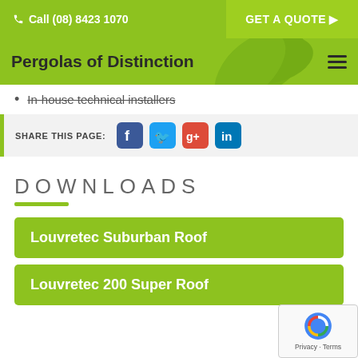Call (08) 8423 1070 | GET A QUOTE
Pergolas of Distinction
In-house technical installers
SHARE THIS PAGE:
DOWNLOADS
Louvretec Suburban Roof
Louvretec 200 Super Roof